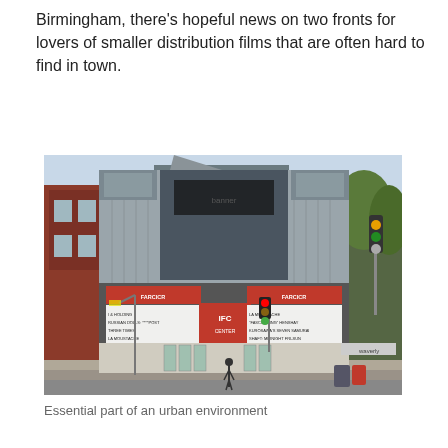Birmingham, there's hopeful news on two fronts for lovers of smaller distribution films that are often hard to find in town.
[Figure (photo): Street-level view of the IFC Center movie theater in New York City, showing the marquee with film listings including 'I & Holding', 'Russian Dolls', 'Post', 'Three Times', 'La Moustache' on the left and 'La Moustache', 'Fascinating Henshay', 'Kurosawa's Seven Samurai', 'Shaft: Midnight Fri-Sun' on the right, with a red IFC Center logo in the center. The building has a distinctive gray corrugated metal facade. A traffic light is visible on the left and trees on the right. A person is walking on the sidewalk.]
Essential part of an urban environment